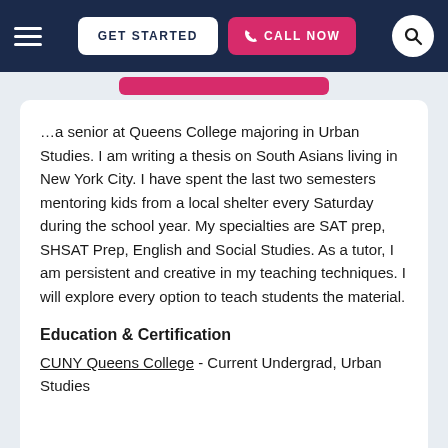GET STARTED | CALL NOW
…a senior at Queens College majoring in Urban Studies. I am writing a thesis on South Asians living in New York City. I have spent the last two semesters mentoring kids from a local shelter every Saturday during the school year. My specialties are SAT prep, SHSAT Prep, English and Social Studies. As a tutor, I am persistent and creative in my teaching techniques. I will explore every option to teach students the material.
Education & Certification
CUNY Queens College - Current Undergrad, Urban Studies